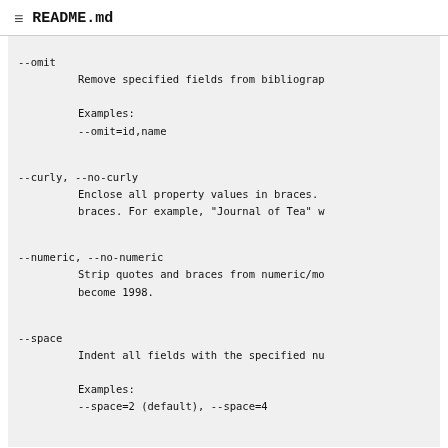README.md
--omit
    Remove specified fields from bibliograp

    Examples:
    --omit=id,name

--curly, --no-curly
    Enclose all property values in braces.
    braces. For example, "Journal of Tea" w

--numeric, --no-numeric
    Strip quotes and braces from numeric/mo
    become 1998.

--space
    Indent all fields with the specified nu

    Examples:
    --space=2 (default), --space=4

--tab, --no-tab